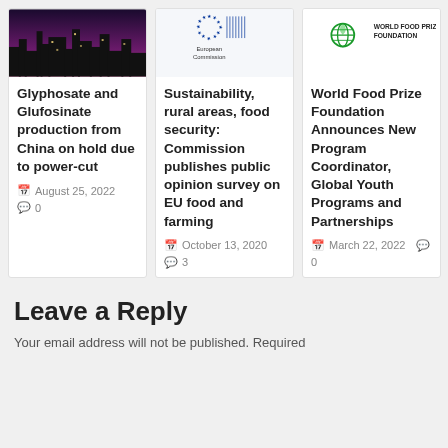[Figure (photo): City skyline at night with purple/pink hues]
Glyphosate and Glufosinate production from China on hold due to power-cut
August 25, 2022  0
[Figure (logo): European Commission logo with EU stars and commission text]
Sustainability, rural areas, food security: Commission publishes public opinion survey on EU food and farming
October 13, 2020  3
[Figure (logo): World Food Prize Foundation logo]
World Food Prize Foundation Announces New Program Coordinator, Global Youth Programs and Partnerships
March 22, 2022  0
Leave a Reply
Your email address will not be published. Required